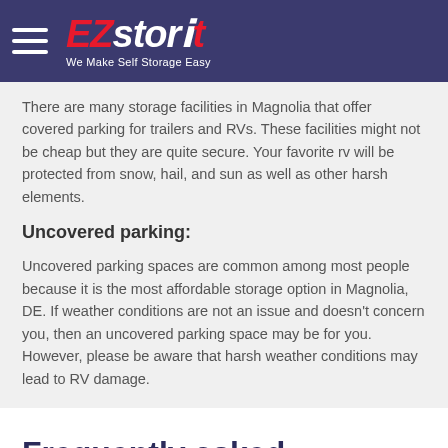EZstorit — We Make Self Storage Easy
There are many storage facilities in Magnolia that offer covered parking for trailers and RVs. These facilities might not be cheap but they are quite secure. Your favorite rv will be protected from snow, hail, and sun as well as other harsh elements.
Uncovered parking:
Uncovered parking spaces are common among most people because it is the most affordable storage option in Magnolia, DE. If weather conditions are not an issue and doesn't concern you, then an uncovered parking space may be for you. However, please be aware that harsh weather conditions may lead to RV damage.
Frequently asked questions